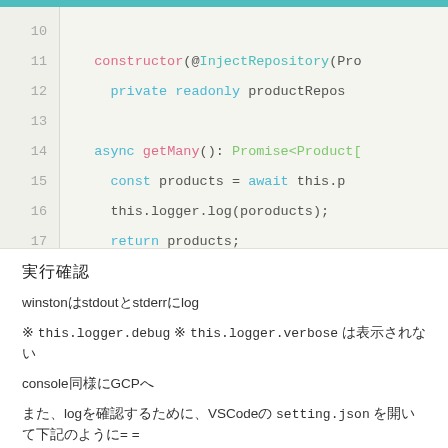[Figure (screenshot): Code editor screenshot showing TypeScript code lines 10-19 with syntax highlighting. Line 11: constructor(@InjectRepository(Pro..., Line 12: private readonly productRepos..., Line 14: async getMany(): Promise<Product[..., Line 15: const products = await this.p..., Line 16: this.logger.log(poroducts);, Line 17: return products;, Line 18: }, Line 19: }]
実行確認
winstonはstdoutとstderrにlog
※ this.logger.debug ※ this.logger.verbose は表示されない
console同様にGCPへ
また、logを確認するために、VSCodeの setting.json を開いて下記のように= =